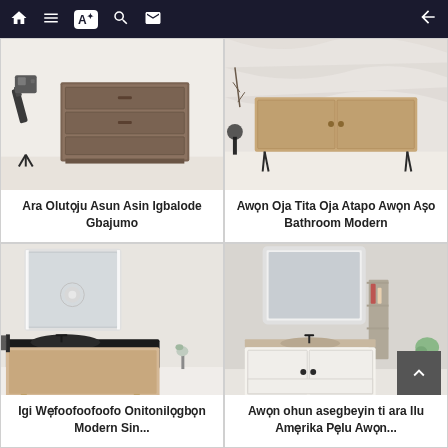Navigation bar with home, list, translate, search, mail, and back icons
[Figure (photo): Wooden chest of drawers with a telescope on the left side, modern furniture piece on white background]
Ara Olutoju Asun Asin Igbalode Gbajumo
[Figure (photo): Modern wooden sideboard with metal hairpin legs against a marble wall background]
Awon Oja Tita Oja Atapo Awon Aso Bathroom Modern
[Figure (photo): Modern wooden bathroom vanity with black countertop, undermount sink, wall-mounted mirror with LED lighting]
Igi Wefoofoofoofo Onitonilọgbọn Modern Sin...
[Figure (photo): White bathroom vanity with brown marble countertop, undermount sink, framed mirror, and shelving unit on the side]
Awon ohun asegbeyin ti ara Ilu Amerika Pelu Awon...